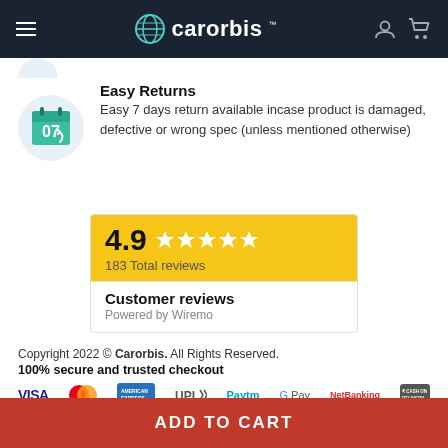carorbis — navigation header
Easy Returns
Easy 7 days return available incase product is damaged, defective or wrong spec (unless mentioned otherwise)
[Figure (infographic): 4.9 stars rating widget — 183 Total reviews, Customer reviews Powered by Wiremo]
Copyright 2022 © Carorbis. All Rights Reserved.
100% secure and trusted checkout
[Figure (infographic): Payment icons: VISA, Mastercard, American Express, UPI, Paytm, G Pay, NetBanking, Cash on Delivery]
ADD TO CART